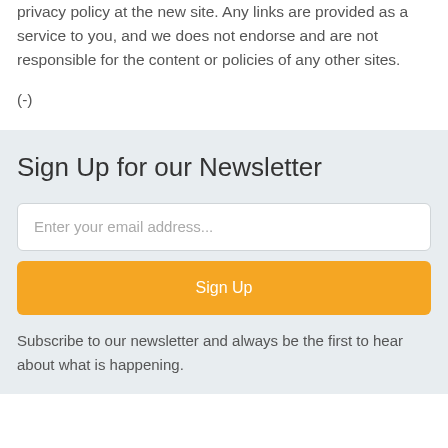privacy policy at the new site. Any links are provided as a service to you, and we does not endorse and are not responsible for the content or policies of any other sites.
(-)
Sign Up for our Newsletter
Enter your email address...
Sign Up
Subscribe to our newsletter and always be the first to hear about what is happening.